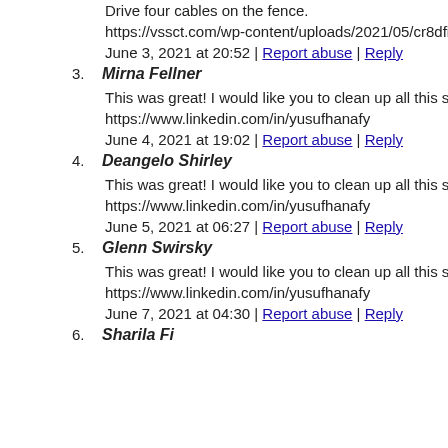Drive four cables on the fence.
https://vssct.com/wp-content/uploads/2021/05/cr8dfi5bklrxtvh
June 3, 2021 at 20:52 | Report abuse | Reply
3. Mirna Fellner
This was great! I would like you to clean up all this spam thou
https://www.linkedin.com/in/yusufhanafy
June 4, 2021 at 19:02 | Report abuse | Reply
4. Deangelo Shirley
This was great! I would like you to clean up all this spam thou
https://www.linkedin.com/in/yusufhanafy
June 5, 2021 at 06:27 | Report abuse | Reply
5. Glenn Swirsky
This was great! I would like you to clean up all this spam thou
https://www.linkedin.com/in/yusufhanafy
June 7, 2021 at 04:30 | Report abuse | Reply
6. Sharila Fi...